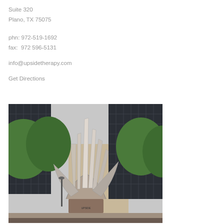Suite 320
Plano, TX 75075
phn: 972-519-1692
fax:  972 596-5131
info@upsidetherapy.com
Get Directions
[Figure (photo): Exterior photo of a commercial office building with a large metallic abstract sculpture in the foreground, green trees visible, building number 1265 visible, taken in daylight.]